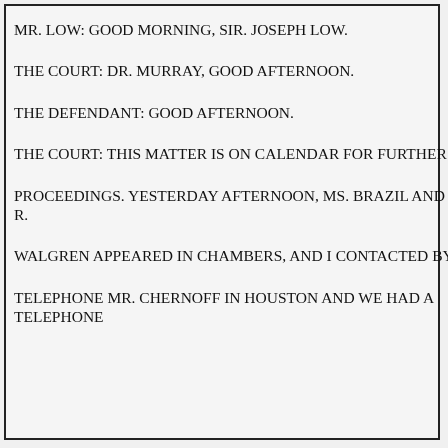MR. LOW: GOOD MORNING, SIR. JOSEPH LOW.
THE COURT: DR. MURRAY, GOOD AFTERNOON.
THE DEFENDANT: GOOD AFTERNOON.
THE COURT: THIS MATTER IS ON CALENDAR FOR FURTHER
PROCEEDINGS. YESTERDAY AFTERNOON, MS. BRAZIL AND
R.
WALGREN APPEARED IN CHAMBERS, AND I CONTACTED BY
TELEPHONE MR. CHERNOFF IN HOUSTON AND WE HAD A
TELEPHONE